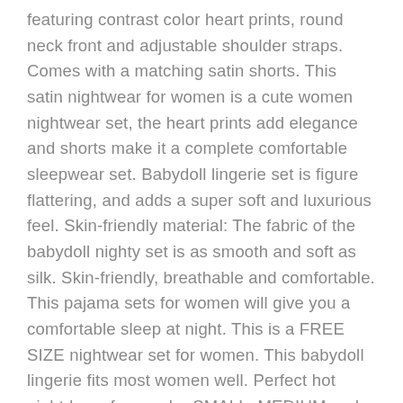featuring contrast color heart prints, round neck front and adjustable shoulder straps. Comes with a matching satin shorts. This satin nightwear for women is a cute women nightwear set, the heart prints add elegance and shorts make it a complete comfortable sleepwear set. Babydoll lingerie set is figure flattering, and adds a super soft and luxurious feel. Skin-friendly material: The fabric of the babydoll nighty set is as smooth and soft as silk. Skin-friendly, breathable and comfortable. This pajama sets for women will give you a comfortable sleep at night. This is a FREE SIZE nightwear set for women. This babydoll lingerie fits most women well. Perfect hot nightdress for regular SMALL, MEDIUM and LARGE sizes. Size Range : Bust ( 30 to 36 inch), Waist (26 to 34 inch). Features : 2 pcs silk pajama set: Sexy round neck camisole top with adjustable spaghetti straps, elastic waistband shorts, charming length which show sexy body lines and full of charm and temptation. Perfect Fit & Perfect Length: The free size satin babydoll fits most figures. And the short length is perfect for a comfortable sleep at night. Adjustable spaghetti straps: The short will be babydoll nighti